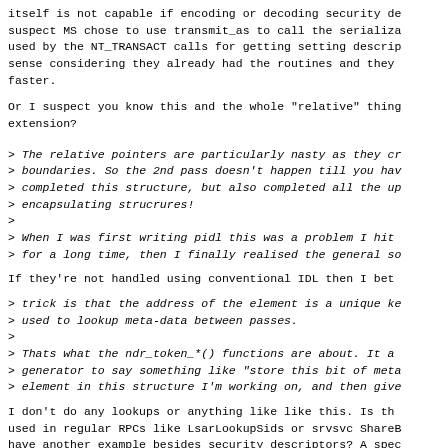itself is not capable if encoding or decoding security de suspect MS chose to use transmit_as to call the serializa used by the NT_TRANSACT calls for getting setting descrip sense considering they already had the routines and they faster.
Or I suspect you know this and the whole "relative" thing extension?
> The relative pointers are particularly nasty as they cr > boundaries. So the 2nd pass doesn't happen till you hav > completed this structure, but also completed all the up > encapsulating strucrures! > > When I was first writing pidl this was a problem I hit > for a long time, then I finally realised the general so
If they're not handled using conventional IDL then I bet
> trick is that the address of the element is a unique ke > used to lookup meta-data between passes. > > Thats what the ndr_token_*() functions are about. It a > generator to say something like "store this bit of meta > element in this structure I'm working on, and then give
I don't do any lookups or anything like like this. Is th used in regular RPCs like LsarLookupSids or srvsvc ShareB have another example besides security descriptors? A spec